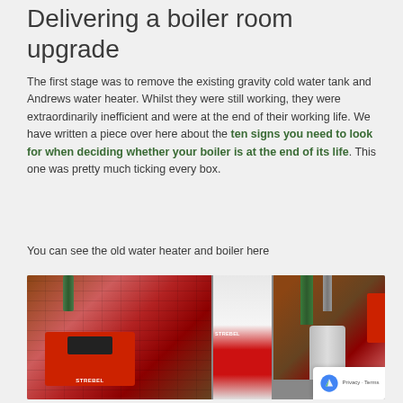Delivering a boiler room upgrade
The first stage was to remove the existing gravity cold water tank and Andrews water heater. Whilst they were still working, they were extraordinarily inefficient and were at the end of their working life. We have written a piece over here about the ten signs you need to look for when deciding whether your boiler is at the end of its life. This one was pretty much ticking every box.
You can see the old water heater and boiler here
[Figure (photo): Two photographs side by side showing old boiler room equipment — a red STREBEL boiler unit on the left, and on the right a STREBEL water heater alongside old equipment including pipes and a gray cylinder, all in a brick-walled boiler room.]